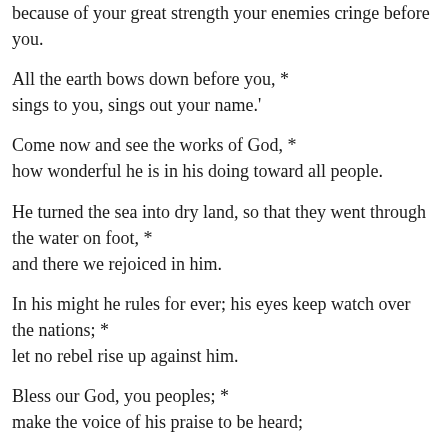because of your great strength your enemies cringe before you.
All the earth bows down before you, *
sings to you, sings out your name.
Come now and see the works of God, *
how wonderful he is in his doing toward all people.
He turned the sea into dry land, so that they went through the water on foot, *
and there we rejoiced in him.
In his might he rules for ever; his eyes keep watch over the nations; *
let no rebel rise up against him.
Bless our God, you peoples; *
make the voice of his praise to be heard;
Who holds our souls in life, *